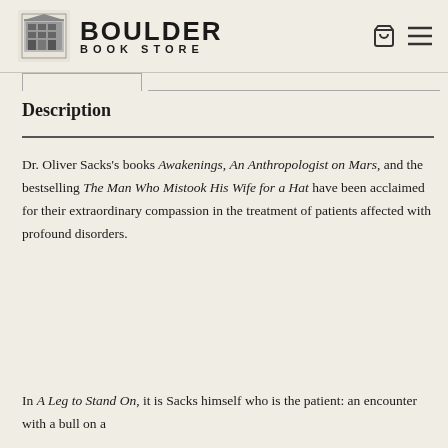BOULDER BOOK STORE
Description
Dr. Oliver Sacks's books Awakenings, An Anthropologist on Mars, and the bestselling The Man Who Mistook His Wife for a Hat have been acclaimed for their extraordinary compassion in the treatment of patients affected with profound disorders.
In A Leg to Stand On, it is Sacks himself who is the patient: an encounter with a bull on a